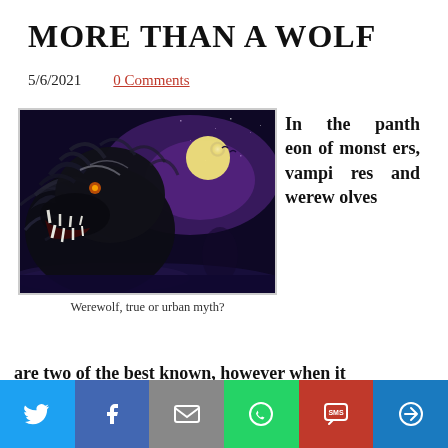MORE THAN A WOLF
5/6/2021   0 Comments
[Figure (illustration): Digital art of a werewolf roaring under a full moon in a dark purple night sky with birds flying in the background.]
Werewolf, true or urban myth?
In the pantheon of monsters, vampires and werewolves are two of the best known, however when it